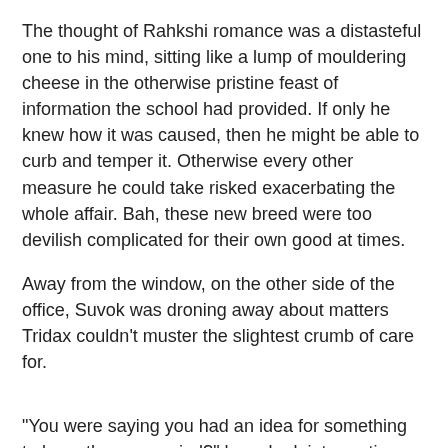The thought of Rahkshi romance was a distasteful one to his mind, sitting like a lump of mouldering cheese in the otherwise pristine feast of information the school had provided. If only he knew how it was caused, then he might be able to curb and temper it. Otherwise every other measure he could take risked exacerbating the whole affair. Bah, these new breed were too devilish complicated for their own good at times.
Away from the window, on the other side of the office, Suvok was droning away about matters Tridax couldn't muster the slightest crumb of care for.
"You were saying you had an idea for something to keep them occupied?" he asked, interrupting the cyborg mid drone.
"Er yes, tasks." The half-faced Skakdi was thrown off by being cut off. Too used to giving orders rather than taking them, that was his problem, Tridax mused as the drone started up again. "Got some ideas. Things for teamwork and such. Some for